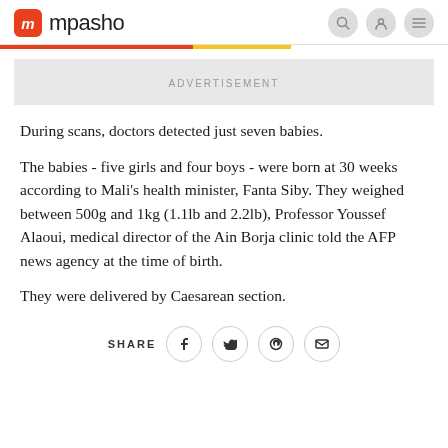mpasho
During scans, doctors detected just seven babies.
The babies - five girls and four boys - were born at 30 weeks according to Mali's health minister, Fanta Siby. They weighed between 500g and 1kg (1.1lb and 2.2lb), Professor Youssef Alaoui, medical director of the Ain Borja clinic told the AFP news agency at the time of birth.
They were delivered by Caesarean section.